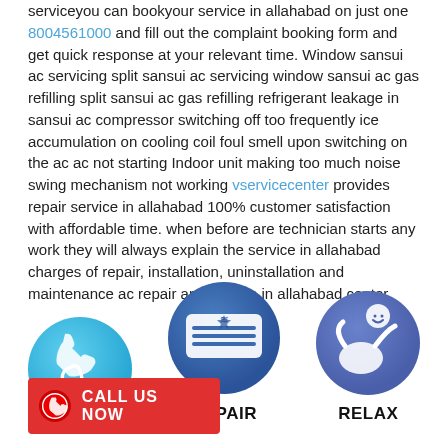serviceyou can bookyour service in allahabad on just one 8004561000 and fill out the complaint booking form and get quick response at your relevant time. Window sansui ac servicing split sansui ac servicing window sansui ac gas refilling split sansui ac gas refilling refrigerant leakage in sansui ac compressor switching off too frequently ice accumulation on cooling coil foul smell upon switching on the ac ac not starting Indoor unit making too much noise swing mechanism not working vservicecenter provides repair service in allahabad 100% customer satisfaction with affordable time. when before are technician starts any work they will always explain the service in allahabad charges of repair, installation, uninstallation and maintenance ac repair and service in allahabad center
[Figure (illustration): Three circular icons in a row: a phone icon (light blue), an AC unit icon (dark blue), and a person relaxing icon (blue-purple). Labels below read REPAIR and RELAX.]
[Figure (illustration): Red oval Call Us Now banner with phone icon on the left side]